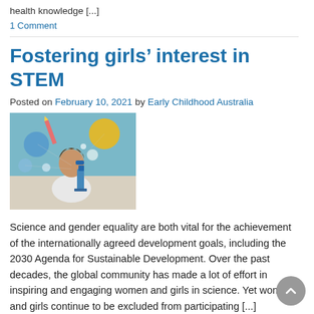health knowledge [...]
1 Comment
Fostering girls' interest in STEM
Posted on February 10, 2021 by Early Childhood Australia
[Figure (photo): A young girl looking through a microscope surrounded by colorful planet and science decorations]
Science and gender equality are both vital for the achievement of the internationally agreed development goals, including the 2030 Agenda for Sustainable Development. Over the past decades, the global community has made a lot of effort in inspiring and engaging women and girls in science. Yet women and girls continue to be excluded from participating [...]